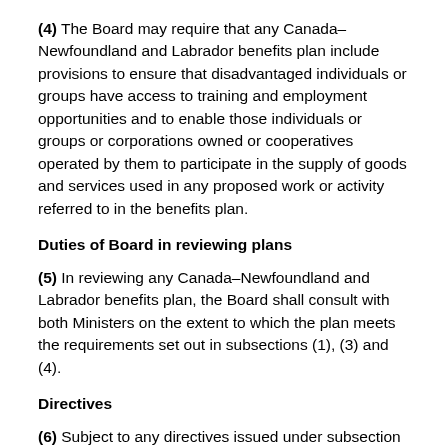(4) The Board may require that any Canada–Newfoundland and Labrador benefits plan include provisions to ensure that disadvantaged individuals or groups have access to training and employment opportunities and to enable those individuals or groups or corporations owned or cooperatives operated by them to participate in the supply of goods and services used in any proposed work or activity referred to in the benefits plan.
Duties of Board in reviewing plans
(5) In reviewing any Canada–Newfoundland and Labrador benefits plan, the Board shall consult with both Ministers on the extent to which the plan meets the requirements set out in subsections (1), (3) and (4).
Directives
(6) Subject to any directives issued under subsection